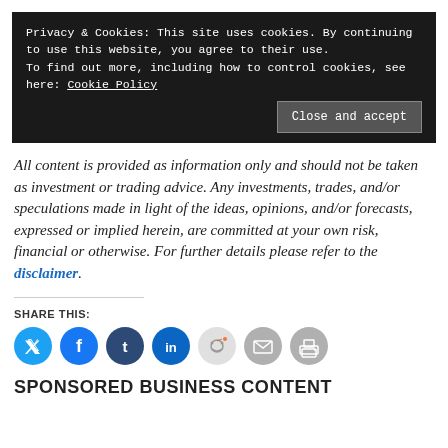Privacy & Cookies: This site uses cookies. By continuing to use this website, you agree to their use.
To find out more, including how to control cookies, see here: Cookie Policy
Close and accept
All content is provided as information only and should not be taken as investment or trading advice. Any investments, trades, and/or speculations made in light of the ideas, opinions, and/or forecasts, expressed or implied herein, are committed at your own risk, financial or otherwise. For further details please refer to the disclaimer.
SHARE THIS:
[Figure (infographic): Row of seven social share icon circles: Twitter (blue), Facebook (blue), Tumblr (dark blue), LinkedIn (blue), Reddit (light gray), Email (gray), Print (gray)]
SPONSORED BUSINESS CONTENT